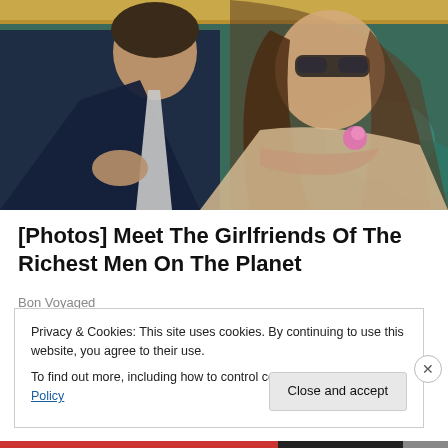[Figure (photo): Two people seated at what appears to be a stadium or sporting event. On the left, an older man in a dark navy suit with a light grey tie. On the right, a young woman with long brown hair wearing sunglasses and a beige lace outfit with a pink flower accessory. Teal/green seating visible in background.]
[Photos] Meet The Girlfriends Of The Richest Men On The Planet
Bon Voyaged
Privacy & Cookies: This site uses cookies. By continuing to use this website, you agree to their use.
To find out more, including how to control cookies, see here: Cookie Policy